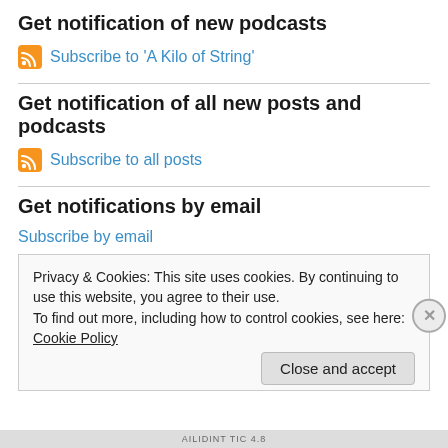Get notification of new podcasts
Subscribe to 'A Kilo of String'
Get notification of all new posts and podcasts
Subscribe to all posts
Get notifications by email
Subscribe by email
Privacy & Cookies: This site uses cookies. By continuing to use this website, you agree to their use.
To find out more, including how to control cookies, see here: Cookie Policy
Close and accept